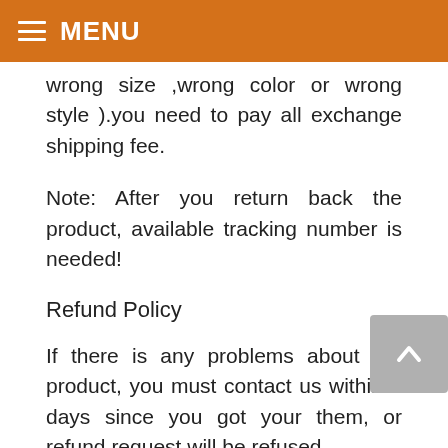MENU
wrong size ,wrong color or wrong style ).you need to pay all exchange shipping fee.
Note: After you return back the product, available tracking number is needed!
Refund Policy
If there is any problems about the product, you must contact us within 3 days since you got your them, or refund request will be refused.
We do our best to provide clients effective service and gain customers' satisfaction . In the event that you find your purchase unsuitable, we are pleased to offer you a full refund(or send a new pair) under the following conditions:
1.We have made some mistakes of sending the goods or the